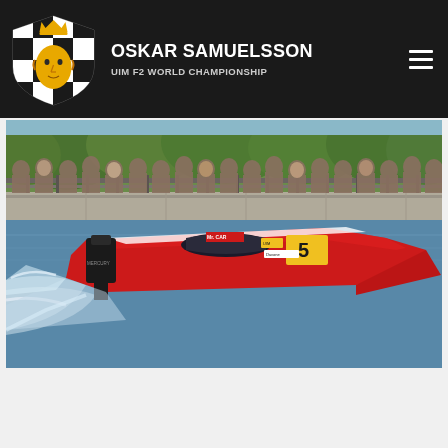d... ...kes, however Oskar finished second in the B... ... Oskar ... ... ... and se...
OSKAR SAMUELSSON — UIM F2 WORLD CHAMPIONSHIP
[Figure (photo): Red Formula 2 powerboat with number 5, mercury outboard engine, branding 'Mr. CAR', racing on river with spectators watching from bridge/railing in background. Green trees visible behind crowd.]